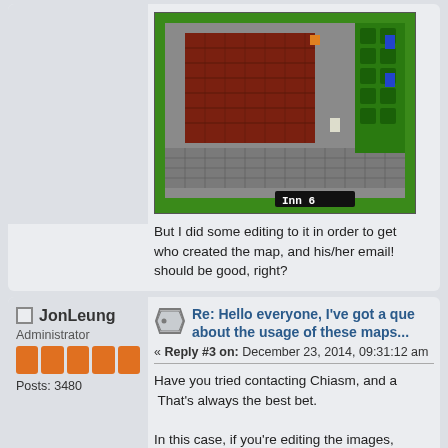[Figure (screenshot): Top-down RPG/game map screenshot showing brick building on grass with stone paths, game UI showing 'Inn 6' at bottom]
But I did some editing to it in order to get who created the map, and his/her email! should be good, right?
JonLeung
Administrator
Posts: 3480
Re: Hello everyone, I've got a que about the usage of these maps...
« Reply #3 on: December 23, 2014, 09:31:12 am
Have you tried contacting Chiasm, and a That's always the best bet.
In this case, if you're editing the images, case. As Terra said, the graphics are not the mapper might be able to "claim" and g